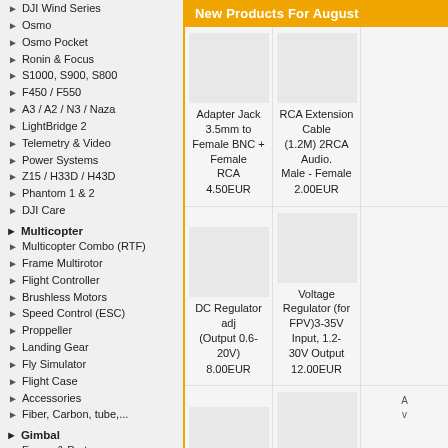DJI Wind Series
Osmo
Osmo Pocket
Ronin & Focus
S1000, S900, S800
F450 / F550
A3 / A2 / N3 / Naza
LightBridge 2
Telemetry & Video
Power Systems
Z15 / H33D / H43D
Phantom 1 & 2
DJI Care
Multicopter
Multicopter Combo (RTF)
Frame Multirotor
Flight Controller
Brushless Motors
Speed Control (ESC)
Proppeller
Landing Gear
Fly Simulator
Flight Case
Accessories
Fiber, Carbon, tube,...
Gimbal
Frame & Parts
Gimbal Combo
Gimbal RTF
Electronic
GMB Motors
Gimbal with servos
Micro Dron
New Products For August
Adapter Jack 3.5mm to Female BNC + Female RCA
4.50EUR
RCA Extension Cable (1.2M) 2RCA Audio. Male - Female
2.00EUR
DC Regulator adj (Output 0.6-20V)
8.00EUR
Voltage Regulator (for FPV)3-35V Input, 1.2-30V Output
12.00EUR
Cable Light & Soft MINI HDMI to MINI HDMI
9.00EUR
Activate Remote Control 433Mhz Remote !channel
48.00EUR